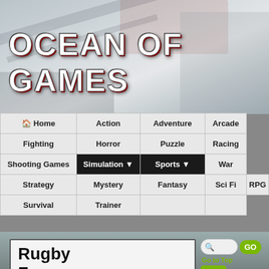[Figure (screenshot): Hero background image with blurred gray/silver tones suggesting a racing or action game scene]
OCEAN OF GAMES
[Figure (screenshot): Navigation menu with categories: Home, Action, Adventure, Arcade, Fighting, Horror, Puzzle, Racing, Shooting Games, Simulation (active), Sports (active), War, Strategy, Mystery, Fantasy, Sci Fi, RPG, Survival, Trainer]
Rugby Free 22
[Figure (screenshot): Sidebar with search bar, GO button, Go to Top link, and ADV button]